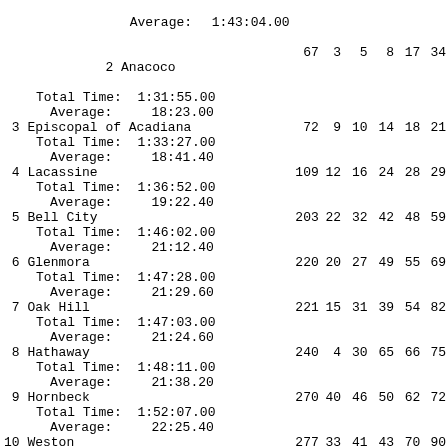| Place | Total Time / Average | Score | 1 | 2 | 3 | 4 | 5 |
| --- | --- | --- | --- | --- | --- | --- | --- |
| 2 Anacoco |  | 67 | 3 | 5 | 8 | 17 | 34 |
|  | Total Time: 1:31:55.00 |  |  |  |  |  |  |
|  | Average:    18:23.00 |  |  |  |  |  |  |
| 3 Episcopal of Acadiana |  | 72 | 9 | 10 | 14 | 18 | 21 |
|  | Total Time: 1:33:27.00 |  |  |  |  |  |  |
|  | Average:    18:41.40 |  |  |  |  |  |  |
| 4 Lacassine |  | 109 | 12 | 16 | 24 | 28 | 29 |
|  | Total Time: 1:36:52.00 |  |  |  |  |  |  |
|  | Average:    19:22.40 |  |  |  |  |  |  |
| 5 Bell City |  | 203 | 22 | 32 | 42 | 48 | 59 |
|  | Total Time: 1:46:02.00 |  |  |  |  |  |  |
|  | Average:    21:12.40 |  |  |  |  |  |  |
| 6 Glenmora |  | 220 | 20 | 27 | 49 | 55 | 69 |
|  | Total Time: 1:47:28.00 |  |  |  |  |  |  |
|  | Average:    21:29.60 |  |  |  |  |  |  |
| 7 Oak Hill |  | 221 | 15 | 31 | 39 | 54 | 82 |
|  | Total Time: 1:47:03.00 |  |  |  |  |  |  |
|  | Average:    21:24.60 |  |  |  |  |  |  |
| 8 Hathaway |  | 240 | 4 | 30 | 65 | 66 | 75 |
|  | Total Time: 1:48:11.00 |  |  |  |  |  |  |
|  | Average:    21:38.20 |  |  |  |  |  |  |
| 9 Hornbeck |  | 270 | 40 | 46 | 50 | 62 | 72 |
|  | Total Time: 1:52:07.00 |  |  |  |  |  |  |
|  | Average:    22:25.40 |  |  |  |  |  |  |
| 10 Weston |  | 277 | 33 | 41 | 43 | 70 | 90 |
|  | Total Time: 1:52:11.00 |  |  |  |  |  |  |
|  | Average:    22:26.20 |  |  |  |  |  |  |
| 11 Castor |  | 286 | 25 | 44 | 61 | 76 | 80 |
|  | Total Time: 1:52:59.00 |  |  |  |  |  |  |
|  | Average:    22:35.80 |  |  |  |  |  |  |
| 12 Quitman |  | 287 | 19 | 35 | 56 | 85 | 92 |
|  | Total Time: 1:53:37.00 |  |  |  |  |  |  |
|  | Average:    22:43.40 |  |  |  |  |  |  |
| 13 Simpson |  | 315 | 38 | 57 | 58 | 78 | 84 |
|  | Total Time: ... |  |  |  |  |  |  |